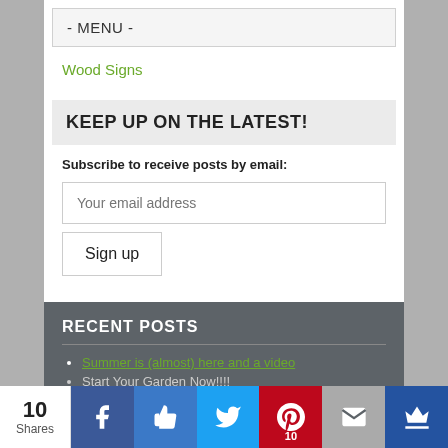- MENU -
Wood Signs
KEEP UP ON THE LATEST!
Subscribe to receive posts by email:
Your email address
Sign up
RECENT POSTS
Summer is (almost) here and a video
Start Your Garden Now!!!!
10 Shares